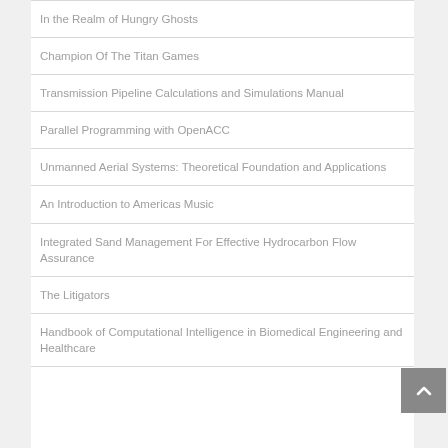In the Realm of Hungry Ghosts
Champion Of The Titan Games
Transmission Pipeline Calculations and Simulations Manual
Parallel Programming with OpenACC
Unmanned Aerial Systems: Theoretical Foundation and Applications
An Introduction to Americas Music
Integrated Sand Management For Effective Hydrocarbon Flow Assurance
The Litigators
Handbook of Computational Intelligence in Biomedical Engineering and Healthcare